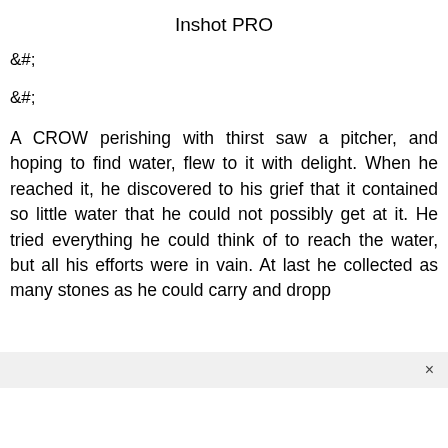Inshot PRO
&#;
&#;
A CROW perishing with thirst saw a pitcher, and hoping to find water, flew to it with delight. When he reached it, he discovered to his grief that it contained so little water that he could not possibly get at it. He tried everything he could think of to reach the water, but all his efforts were in vain. At last he collected as many stones as he could carry and dropp